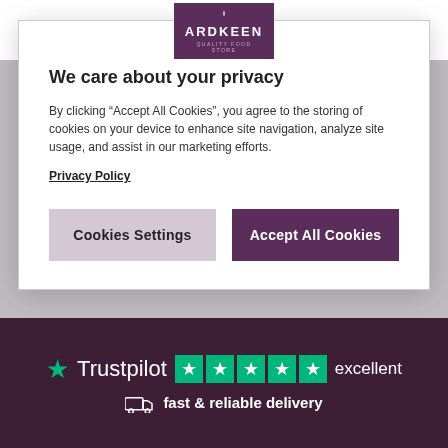[Figure (screenshot): Background website showing Ardkeen quality food store product listings with greyed out navigation and product cards]
We care about your privacy
By clicking “Accept All Cookies”, you agree to the storing of cookies on your device to enhance site navigation, analyze site usage, and assist in our marketing efforts.
Privacy Policy
Cookies Settings
Accept All Cookies
[Figure (logo): Trustpilot logo with 4.5 star rating and 'excellent' label]
fast & reliable delivery